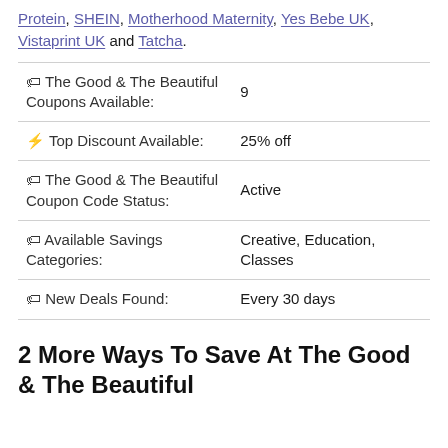Protein, SHEIN, Motherhood Maternity, Yes Bebe UK, Vistaprint UK and Tatcha.
|  |  |
| --- | --- |
| 🏷 The Good & The Beautiful Coupons Available: | 9 |
| ⚡ Top Discount Available: | 25% off |
| 🏷 The Good & The Beautiful Coupon Code Status: | Active |
| 🏷 Available Savings Categories: | Creative, Education, Classes |
| 🏷 New Deals Found: | Every 30 days |
2 More Ways To Save At The Good & The Beautiful